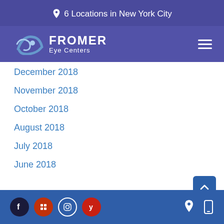6 Locations in New York City
[Figure (logo): Fromer Eye Centers logo with stylized eye icon and text 'FROMER Eye Centers']
December 2018
November 2018
October 2018
August 2018
July 2018
June 2018
Social media icons: Facebook, Google, Instagram, Yelp; Location and mobile icons